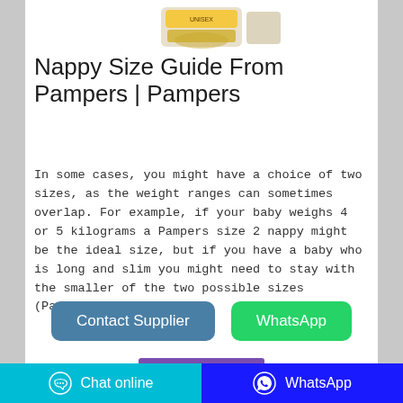[Figure (photo): Product image of Pampers nappy package (partially visible at top of card)]
Nappy Size Guide From Pampers | Pampers
In some cases, you might have a choice of two sizes, as the weight ranges can sometimes overlap. For example, if your baby weighs 4 or 5 kilograms a Pampers size 2 nappy might be the ideal size, but if you have a baby who is long and slim you might need to stay with the smaller of the two possible sizes (Pampers size 1...
Contact Supplier
WhatsApp
Chat online   WhatsApp